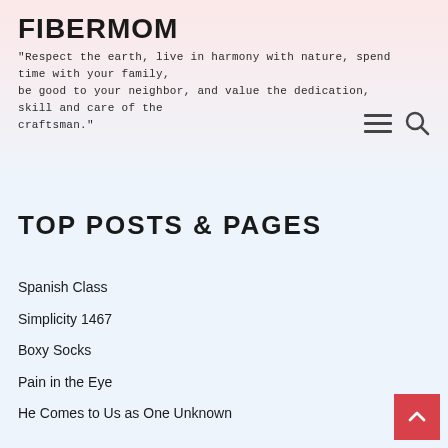FIBERMOM
"Respect the earth, live in harmony with nature, spend time with your family, be good to your neighbor, and value the dedication, skill and care of the craftsman."
TOP POSTS & PAGES
Spanish Class
Simplicity 1467
Boxy Socks
Pain in the Eye
He Comes to Us as One Unknown